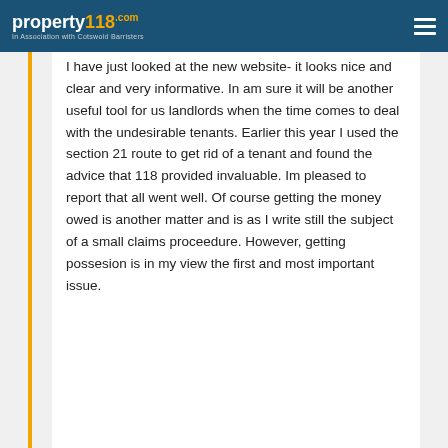property118.com | In Association with Cotswold Barristers
I have just looked at the new website- it looks nice and clear and very informative. In am sure it will be another useful tool for us landlords when the time comes to deal with the undesirable tenants. Earlier this year I used the section 21 route to get rid of a tenant and found the advice that 118 provided invaluable. Im pleased to report that all went well. Of course getting the money owed is another matter and is as I write still the subject of a small claims proceedure. However, getting possesion is in my view the first and most important issue.